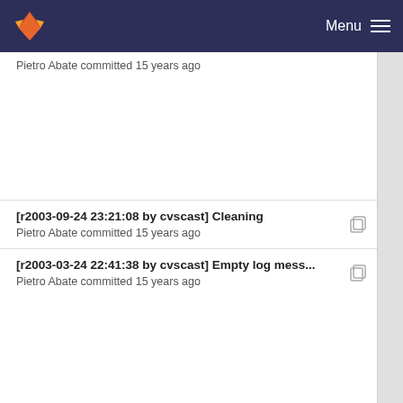Menu
Pietro Abate committed 15 years ago
[r2003-09-24 23:21:08 by cvscast] Cleaning
Pietro Abate committed 15 years ago
[r2003-03-24 22:41:38 by cvscast] Empty log mess...
Pietro Abate committed 15 years ago
[r2004-12-25 20:39:15 by afrisch] Default values fo...
Pietro Abate committed 15 years ago
[r2003-03-24 22:41:38 by cvscast] Empty log mess...